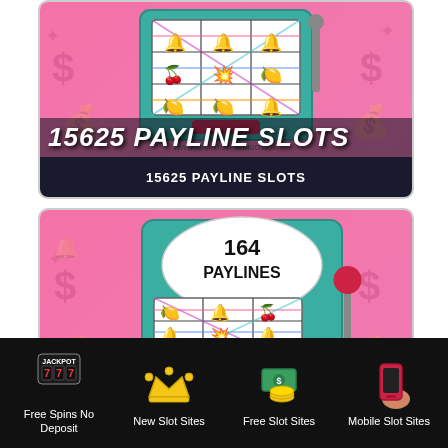[Figure (illustration): Slot machine with paylines on pink background with text overlay '15625 PAYLINE SLOTS']
15625 PAYLINE SLOTS
[Figure (illustration): Slot machine showing '164 PAYLINES' on pink background]
Free Spins No Deposit
New Slot Sites
Free Slot Sites
Mobile Slot Sites